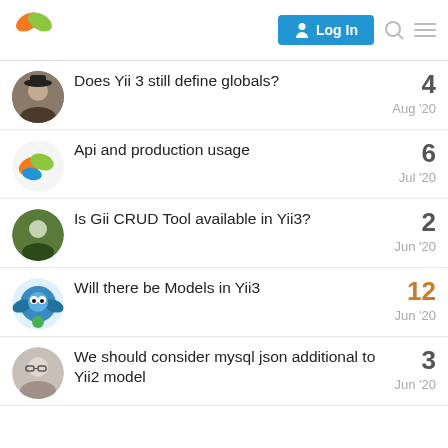Yii Framework Forum - Log In
Does Yii 3 still define globals? — 4 replies — Aug '20
Api and production usage — 6 replies — Jul '20
Is Gii CRUD Tool available in Yii3? — 2 replies — Jun '20
Will there be Models in Yii3 — 12 replies — Jun '20
We should consider mysql json additional to Yii2 model — 3 replies — Jun '20